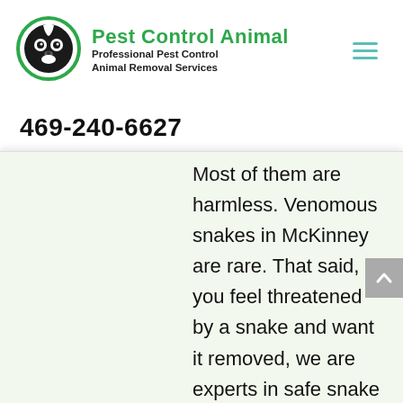[Figure (logo): Pest Control Animal logo: circular green-bordered icon with a skunk/raccoon face illustration]
Pest Control Animal
Professional Pest Control Animal Removal Services
469-240-6627
Most of them are harmless. Venomous snakes in McKinney are rare. That said, if you feel threatened by a snake and want it removed, we are experts in safe snake capture, and we can